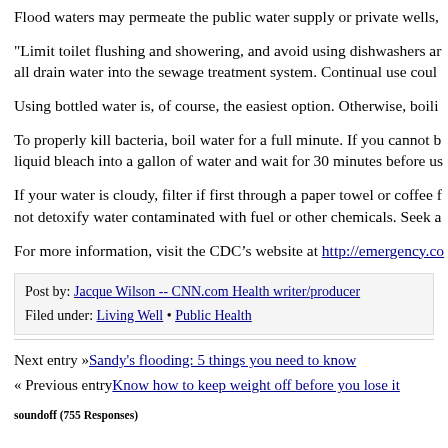Flood waters may permeate the public water supply or private wells,
"Limit toilet flushing and showering, and avoid using dishwashers and all drain water into the sewage treatment system. Continual use could
Using bottled water is, of course, the easiest option. Otherwise, boili
To properly kill bacteria, boil water for a full minute. If you cannot b liquid bleach into a gallon of water and wait for 30 minutes before us
If your water is cloudy, filter if first through a paper towel or coffee f not detoxify water contaminated with fuel or other chemicals. Seek a
For more information, visit the CDC’s website at http://emergency.co
Post by: Jacque Wilson -- CNN.com Health writer/producer
Filed under: Living Well • Public Health
Next entry »Sandy's flooding: 5 things you need to know
« Previous entryKnow how to keep weight off before you lose it
soundoff (755 Responses)